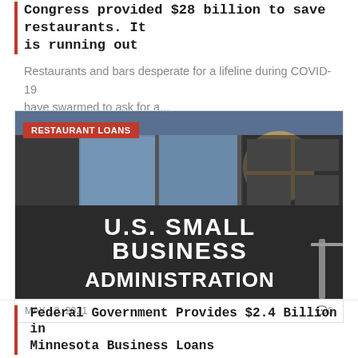Congress provided $28 billion to save restaurants. It is running out
Restaurants and bars desperate for a lifeline during COVID-19 have swarmed to ask for a...
[Figure (photo): Photo of U.S. Small Business Administration building sign with 'RESTAURANT LOANS' badge overlay]
MAY 13, 2021
Federal Government Provides $2.4 Billion in Minnesota Business Loans